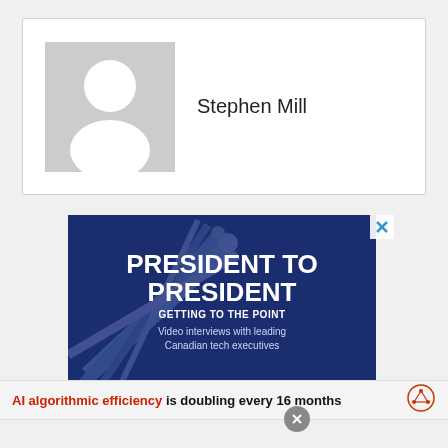[Figure (photo): Profile card with placeholder avatar silhouette (gray background with white person icon) and name 'Stephen Mill' to the right]
Stephen Mill
[Figure (infographic): Advertisement banner with dark blue background and darts image. Text reads: PRESIDENT TO PRESIDENT, GETTING TO THE POINT, Video interviews with leading Canadian tech executives. Has a close button (X) in top right corner.]
AI algorithmic efficiency is doubling every 16 months